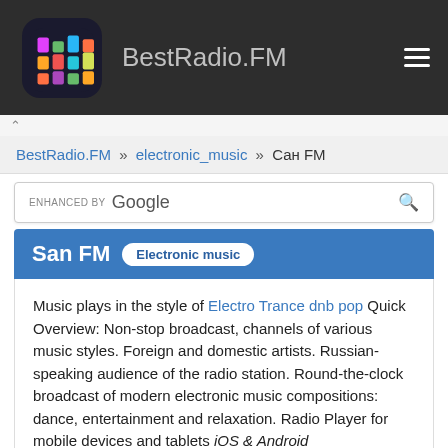BestRadio.FM
BestRadio.FM » electronic_music » Сан FM
ENHANCED BY Google
San FM Electronic music
Music plays in the style of Electro Trance dnb pop Quick Overview: Non-stop broadcast, channels of various music styles. Foreign and domestic artists. Russian-speaking audience of the radio station. Round-the-clock broadcast of modern electronic music compositions: dance, entertainment and relaxation. Radio Player for mobile devices and tablets iOS & Android
San FM.
based on 11735 votes. 3 user reviews.
[Figure (photo): Dark background image at the bottom of the page]